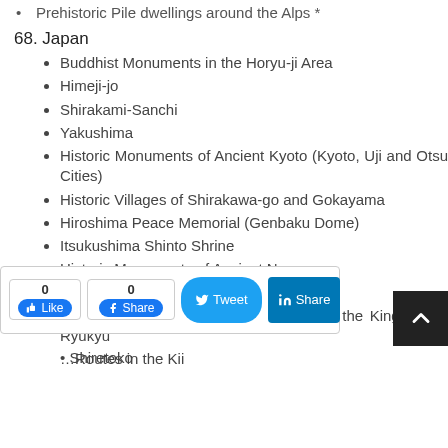Prehistoric Pile dwellings around the Alps *
68. Japan
Buddhist Monuments in the Horyu-ji Area
Himeji-jo
Shirakami-Sanchi
Yakushima
Historic Monuments of Ancient Kyoto (Kyoto, Uji and Otsu Cities)
Historic Villages of Shirakawa-go and Gokayama
Hiroshima Peace Memorial (Genbaku Dome)
Itsukushima Shinto Shrine
Historic Monuments of Ancient Nara
Shrines and Temples of Nikko
Gusuku Sites and Related Properties of the Kingdom of Ryukyu
Routes in the Kii
Shiretoko